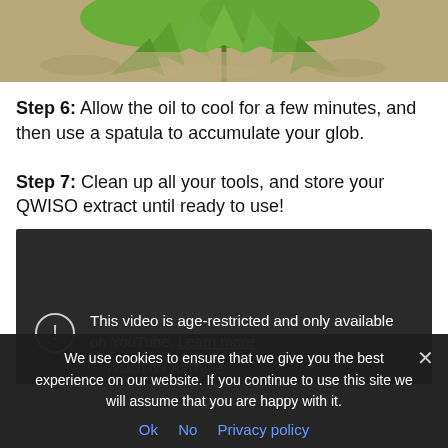[Figure (photo): Top portion of a cannabis leaf on a sandy/rocky background, cropped at the top of the page]
Step 6: Allow the oil to cool for a few minutes, and then use a spatula to accumulate your glob.
Step 7: Clean up all your tools, and store your QWISO extract until ready to use!
[Figure (screenshot): YouTube video embed showing age-restricted message: 'This video is age-restricted and only available on YouTube. Learn more' with 'Watch on YouTube' link. Dark background with warning icon circle.]
We use cookies to ensure that we give you the best experience on our website. If you continue to use this site we will assume that you are happy with it.
Ok   No   Privacy policy